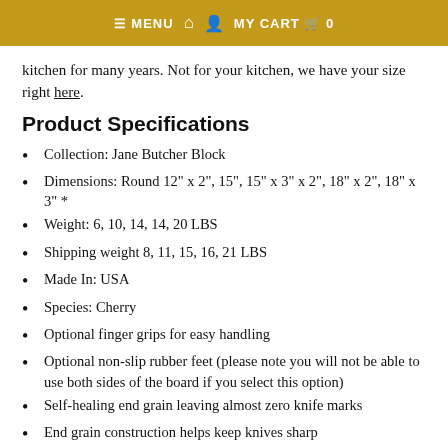≡ MENU  🏠  👤  MY CART  🛒  0
kitchen for many years. Not for your kitchen, we have your size right here.
Product Specifications
Collection: Jane Butcher Block
Dimensions: Round 12" x 2", 15", 15" x 3" x 2", 18" x 2", 18" x 3" *
Weight: 6, 10, 14, 14, 20 LBS
Shipping weight 8, 11, 15, 16, 21 LBS
Made In: USA
Species: Cherry
Optional finger grips for easy handling
Optional non-slip rubber feet (please note you will not be able to use both sides of the board if you select this option)
Self-healing end grain leaving almost zero knife marks
End grain construction helps keep knives sharp
Locally sourced lumber energizing local economy and employment
Made by LIMBA Woodcraft, artisan furniture & cutting board